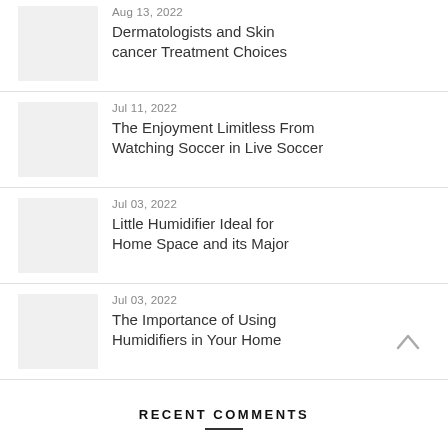Aug 13, 2022 – Dermatologists and Skin cancer Treatment Choices
Jul 11, 2022 – The Enjoyment Limitless From Watching Soccer in Live Soccer
Jul 03, 2022 – Little Humidifier Ideal for Home Space and its Major
Jul 03, 2022 – The Importance of Using Humidifiers in Your Home
RECENT COMMENTS